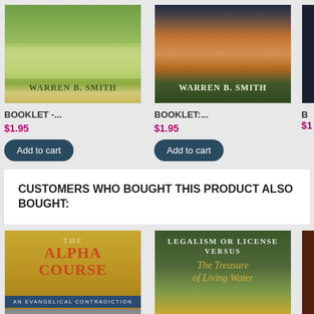[Figure (illustration): Book cover with nature/green scene showing WARREN B. SMITH author name]
[Figure (illustration): Book cover with sunset/sky scene showing WARREN B. SMITH author name]
BOOKLET -...
$1.95
Add to cart
BOOKLET:...
$1.95
Add to cart
CUSTOMERS WHO BOUGHT THIS PRODUCT ALSO BOUGHT:
[Figure (illustration): Book cover: THE ALPHA COURSE - AN EVANGELICAL CONTRADICTION, with golden background and people at bottom]
[Figure (illustration): Book cover: LEGALISM OR LICENSE VERSUS The Treasure of Living Water, forest/nature background]